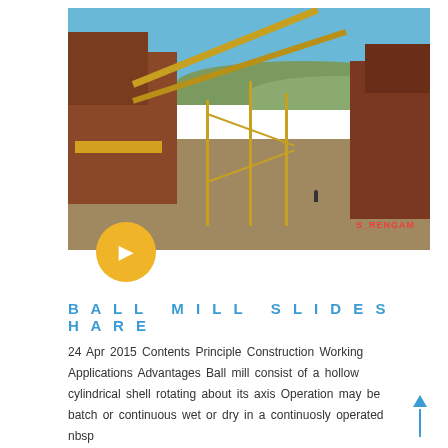[Figure (photo): Outdoor mining/quarrying site with large industrial conveyor belt machinery, yellow frame structures, rusty metal equipment, under a clear blue sky with hills in the background. Red watermark text visible in lower right of photo.]
BALL MILL SLIDESHARE
24 Apr 2015 Contents Principle Construction Working Applications Advantages Ball mill consist of a hollow cylindrical shell rotating about its axis Operation may be batch or continuous wet or dry in a continuosly operated nbsp